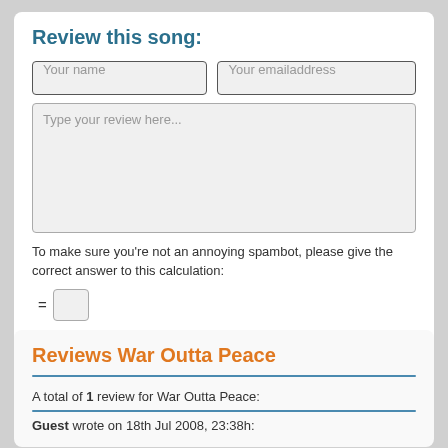Review this song:
[Figure (screenshot): Web form with fields: Your name (text input), Your emailaddress (text input), Type your review here... (textarea), CAPTCHA answer input, and Post review button]
To make sure you're not an annoying spambot, please give the correct answer to this calculation:
Reviews War Outta Peace
A total of 1 review for War Outta Peace:
Guest wrote on 18th Jul 2008, 23:38h: